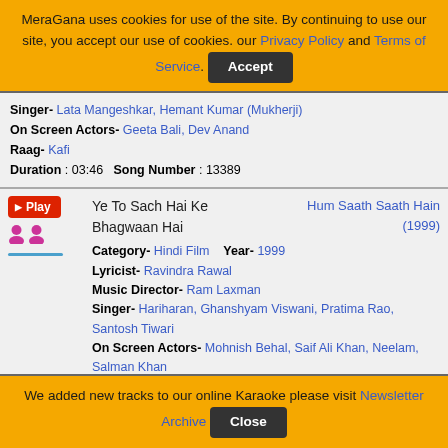MeraGana uses cookies for use of the site. By continuing to use our site, you accept our use of cookies. our Privacy Policy and Terms of Service. Accept
Singer- Lata Mangeshkar, Hemant Kumar (Mukherji)
On Screen Actors- Geeta Bali, Dev Anand
Raag- Kafi
Duration : 03:46  Song Number : 13389
Ye To Sach Hai Ke Bhagwaan Hai | Hum Saath Saath Hain (1999)
Category- Hindi Film  Year- 1999
Lyricist- Ravindra Rawal
Music Director- Ram Laxman
Singer- Hariharan, Ghanshyam Viswani, Pratima Rao, Santosh Tiwari
On Screen Actors- Mohnish Behal, Saif Ali Khan, Neelam, Salman Khan
Duration : 06:49  Song Number : 11885
Ye Zulfon Ki Bikhri | Do Aur Do Paanch (1980)
Category- Hindi Film  Year- 1980
We added new tracks to our online Karaoke please visit Newsletter Archive Close